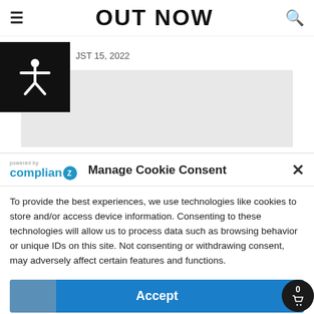OUT NOW
JST 15, 2022
[Figure (screenshot): Accessibility icon (person with arms/legs spread) in white on black background]
[Figure (screenshot): Gray placeholder content area]
Manage Cookie Consent
To provide the best experiences, we use technologies like cookies to store and/or access device information. Consenting to these technologies will allow us to process data such as browsing behavior or unique IDs on this site. Not consenting or withdrawing consent, may adversely affect certain features and functions.
Accept
Cookie Policy   Privacy Statement   Imprint
Jauz Tou... ...iew B... ...Single Ma...